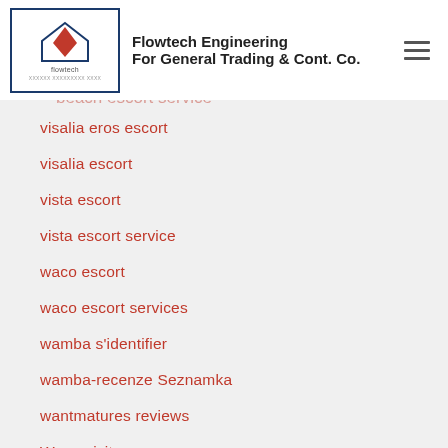Flowtech Engineering For General Trading & Cont. Co.
visalia eros escort
visalia escort
vista escort
vista escort service
waco escort
waco escort services
wamba s'identifier
wamba-recenze Seznamka
wantmatures reviews
Wapa visitors
waplog login